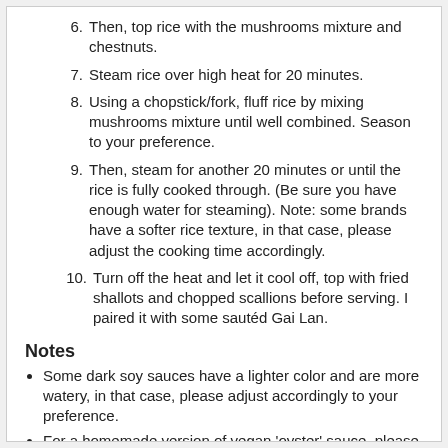6. Then, top rice with the mushrooms mixture and chestnuts.
7. Steam rice over high heat for 20 minutes.
8. Using a chopstick/fork, fluff rice by mixing mushrooms mixture until well combined. Season to your preference.
9. Then, steam for another 20 minutes or until the rice is fully cooked through. (Be sure you have enough water for steaming). Note: some brands have a softer rice texture, in that case, please adjust the cooking time accordingly.
10. Turn off the heat and let it cool off, top with fried shallots and chopped scallions before serving. I paired it with some sautéd Gai Lan.
Notes
Some dark soy sauces have a lighter color and are more watery, in that case, please adjust accordingly to your preference.
For a homemade version of vegan 'oyster' sauce, please use my Vegan Stir-Fry Sauce.